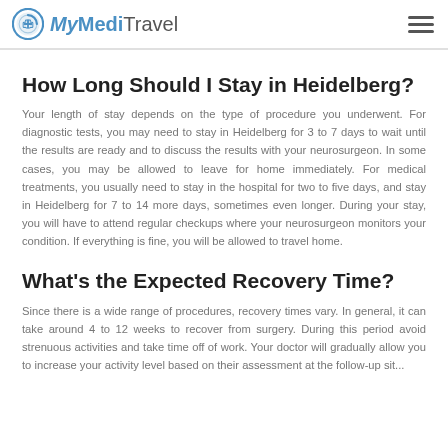MyMediTravel
How Long Should I Stay in Heidelberg?
Your length of stay depends on the type of procedure you underwent. For diagnostic tests, you may need to stay in Heidelberg for 3 to 7 days to wait until the results are ready and to discuss the results with your neurosurgeon. In some cases, you may be allowed to leave for home immediately. For medical treatments, you usually need to stay in the hospital for two to five days, and stay in Heidelberg for 7 to 14 more days, sometimes even longer. During your stay, you will have to attend regular checkups where your neurosurgeon monitors your condition. If everything is fine, you will be allowed to travel home.
What's the Expected Recovery Time?
Since there is a wide range of procedures, recovery times vary. In general, it can take around 4 to 12 weeks to recover from surgery. During this period avoid strenuous activities and take time off of work. Your doctor will gradually allow you to increase your activity level based on their assessment at the follow-up visit.